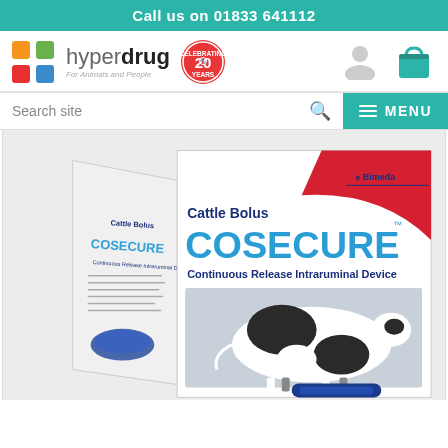Call us on 01833 641112
[Figure (logo): Hyperdrug logo with coloured cross icon and '20 Years Celebrating' badge, user icon and basket/cart icon]
Search site
[Figure (photo): Product shot of Cattle Bolus COSECURE Continuous Release Intraruminal Device box by Bimeda, showing a black-and-white dairy cow on the front, with a blue bolus device at the bottom. A side panel of the box is also visible.]